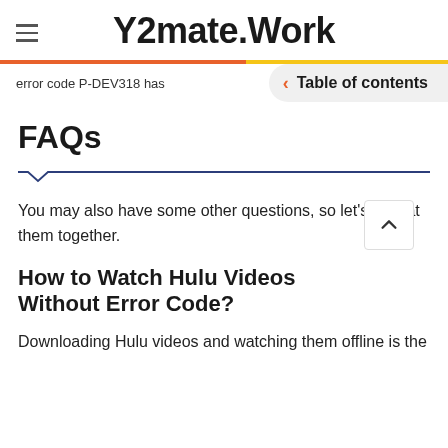Y2mate.Work
error code P-DEV318 has
Table of contents
FAQs
You may also have some other questions, so let's look at them together.
How to Watch Hulu Videos Without Error Code?
Downloading Hulu videos and watching them offline is the